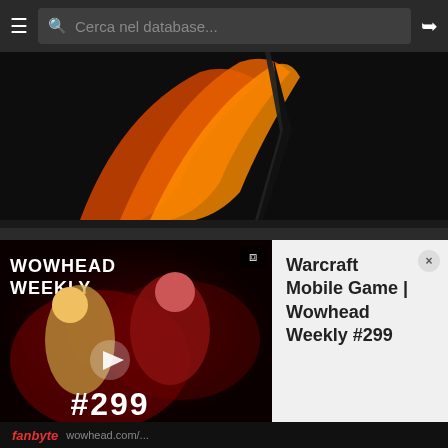Cerca nel database...
[Figure (illustration): Dark background image showing a partial flame/wing-like illustration in orange and red on black]
Wowhead Weekly #161 on Twitch - Mounts, Pets, and Unicorns
Wowhead Weekly #161 was live on Twitch! Annie and Perc discussed the latest beta build, including new achievements, mounts, Kul Tiran...
Pubblicato 17/05/2018 alle 15:44 da perculia
[Figure (screenshot): Wowhead Weekly video thumbnail showing two anime-style characters with red hair on dark red background with '#299' text and 'Wowhead Weekly' logo]
Warcraft Mobile Game | Wowhead Weekly #299
fanbyte